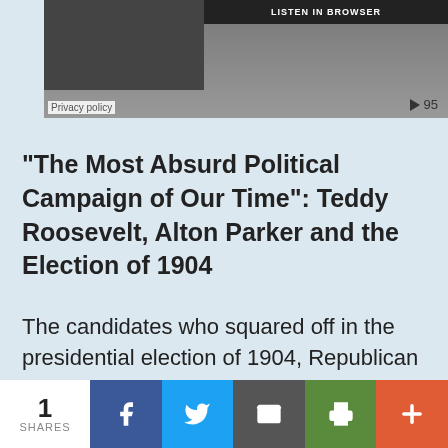[Figure (screenshot): Media player widget with dark block on left, title bar, privacy policy label, and play button with count of 95]
“The Most Absurd Political Campaign of Our Time”:  Teddy Roosevelt, Alton Parker and the Election of 1904
The candidates who squared off in the presidential election of 1904, Republican President Theodore “Teddy” Roosevelt and Democrat Alton Parker, were both native to New York State; beyond that one commonality, they were a study in
1 SHARES | Facebook | Twitter | Email | Print | More